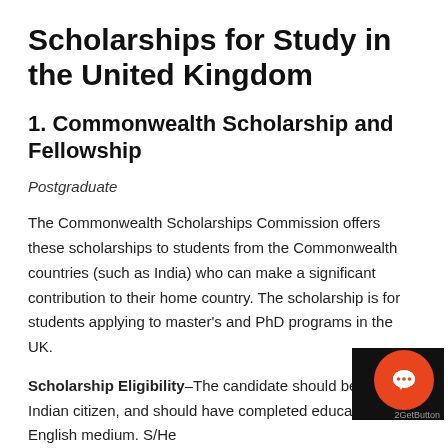Scholarships for Study in the United Kingdom
1. Commonwealth Scholarship and Fellowship
Postgraduate
The Commonwealth Scholarships Commission offers these scholarships to students from the Commonwealth countries (such as India) who can make a significant contribution to their home country. The scholarship is for students applying to master's and PhD programs in the UK.
Scholarship Eligibility–The candidate should be an Indian citizen, and should have completed education in the English medium. S/He